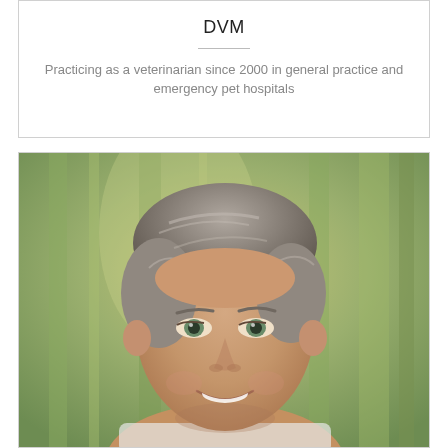DVM
Practicing as a veterinarian since 2000 in general practice and emergency pet hospitals
[Figure (photo): Headshot of a smiling woman with short gray hair and green eyes, photographed outdoors with a blurred green background]